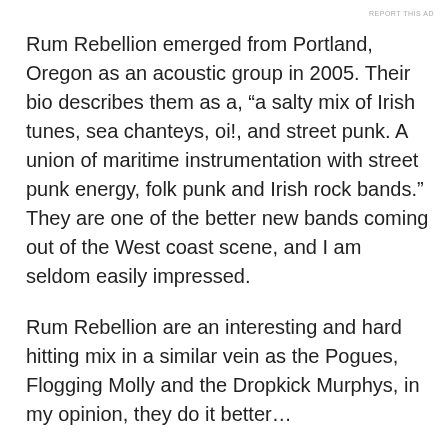REPORT THIS AD
Rum Rebellion emerged from Portland, Oregon as an acoustic group in 2005. Their bio describes them as a, “a salty mix of Irish tunes, sea chanteys, oi!, and street punk. A union of maritime instrumentation with street punk energy, folk punk and Irish rock bands.” They are one of the better new bands coming out of the West coast scene, and I am seldom easily impressed.
Rum Rebellion are an interesting and hard hitting mix in a similar vein as the Pogues, Flogging Molly and the Dropkick Murphys, in my opinion, they do it better…
They soon added bass and drums and began playing live in January of 2006. They released “Cruisin’ For A Boozin’”, the band’s first full-length album in November ’06. This release was well received and they began playing around